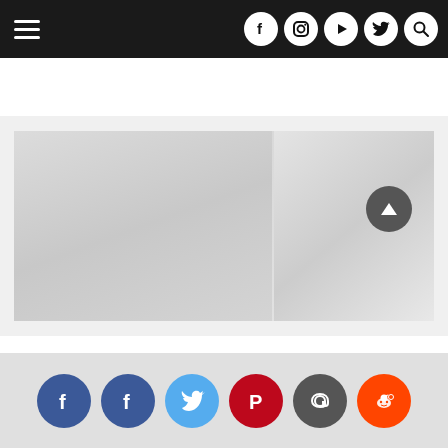Navigation bar with hamburger menu and social icons (Facebook, Instagram, YouTube, Twitter, Search)
[Figure (photo): Faded/washed-out photograph of people, mostly light gray tones, occupying the upper portion of the page below the navigation bar]
[Figure (other): Dark gray circular scroll-to-top button with upward arrow icon, positioned near bottom-right]
Social sharing icons: Facebook, Facebook, Twitter, Pinterest, Email, Reddit